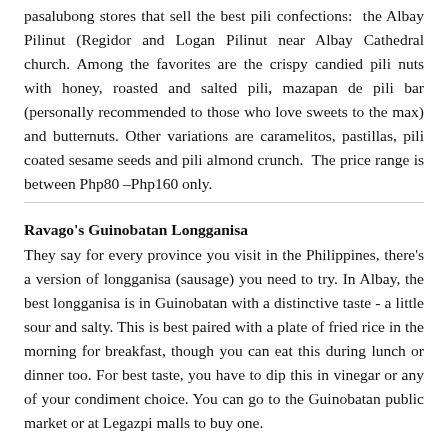pasalubong stores that sell the best pili confections: the Albay Pilinut (Regidor and Logan Pilinut near Albay Cathedral church. Among the favorites are the crispy candied pili nuts with honey, roasted and salted pili, mazapan de pili bar (personally recommended to those who love sweets to the max) and butternuts. Other variations are caramelitos, pastillas, pili coated sesame seeds and pili almond crunch.  The price range is between Php80 –Php160 only.
Ravago's Guinobatan Longganisa
They say for every province you visit in the Philippines, there's a version of longganisa (sausage) you need to try. In Albay, the best longganisa is in Guinobatan with a distinctive taste - a little sour and salty. This is best paired with a plate of fried rice in the morning for breakfast, though you can eat this during lunch or dinner too. For best taste, you have to dip this in vinegar or any of your condiment choice. You can go to the Guinobatan public market or at Legazpi malls to buy one.